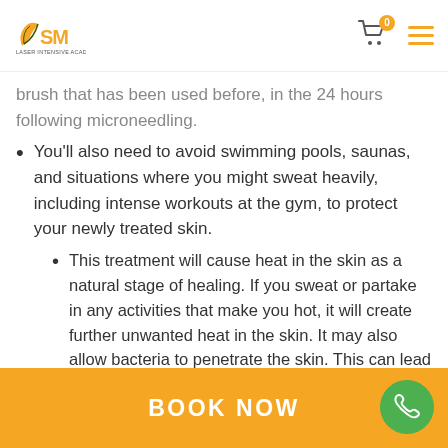LSM logo, cart icon with badge 0, hamburger menu
brush that has been used before, in the 24 hours following microneedling.
You'll also need to avoid swimming pools, saunas, and situations where you might sweat heavily, including intense workouts at the gym, to protect your newly treated skin.
This treatment will cause heat in the skin as a natural stage of healing. If you sweat or partake in any activities that make you hot, it will create further unwanted heat in the skin. It may also allow bacteria to penetrate the skin. This can lead to infection, extended redness or an adverse skin reaction.
BOOK NOW